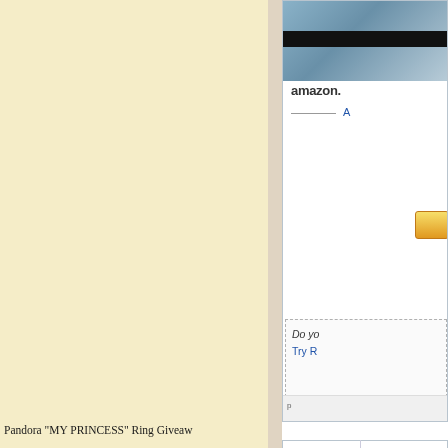[Figure (screenshot): Left column with pale yellow/cream background, likely a blog sidebar or main content area.]
[Figure (screenshot): Partial Amazon product widget showing amazon logo, a link text starting with 'A', a yellow button, and a dotted box with 'Do yo...' text and 'Try R...' link. Bottom bar shows 'p...' text.]
Pandora "MY PRINCESS" Ring Giveaw
[Figure (screenshot): Giveaway panel showing 'IT'S OVER!' in left cell and partial right cell, with 'PAN' large text at the bottom.]